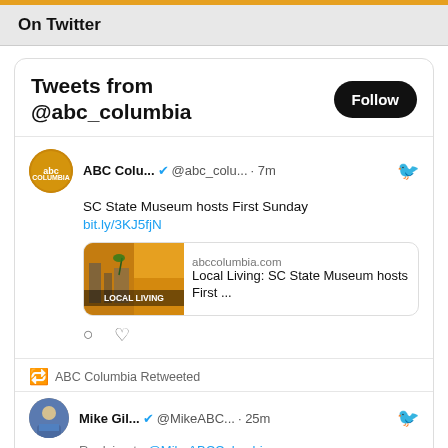On Twitter
Tweets from @abc_columbia
ABC Colu... @abc_colu... · 7m
SC State Museum hosts First Sunday
bit.ly/3KJ5fjN
[Figure (screenshot): Link preview card showing 'LOCAL LIVING' image and abccolumbia.com — Local Living: SC State Museum hosts First ...]
ABC Columbia Retweeted
Mike Gil... @MikeABC... · 25m
Replying to @MikeABCColumbia
Statement from Dawn Staley tonight: "As